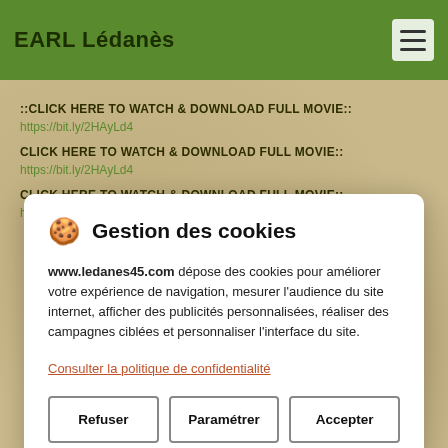EARL Lédanès
::CLICK HERE TO WATCH & DOWNLOAD FULL MOVIE::
https://bit.ly/2HAyLd4
CLICK HERE TO WATCH & DOWNLOAD FULL MOVIE::
https://bit.ly/2HAyLd4
CLICK HERE TO WATCH & DOWNLOAD FULL MOVIE::
https://bit.ly/2HAyLd4
🍪 Gestion des cookies
www.ledanes45.com dépose des cookies pour améliorer votre expérience de navigation, mesurer l'audience du site internet, afficher des publicités personnalisées, réaliser des campagnes ciblées et personnaliser l'interface du site.
Consulter la politique de confidentialité
Refuser | Paramétrer | Accepter